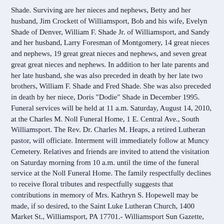Shade. Surviving are her nieces and nephews, Betty and her husband, Jim Crockett of Williamsport, Bob and his wife, Evelyn Shade of Denver, William F. Shade Jr. of Williamsport, and Sandy and her husband, Larry Foresman of Montgomery, 14 great nieces and nephews, 19 great great nieces and nephews, and seven great great great nieces and nephews. In addition to her late parents and her late husband, she was also preceded in death by her late two brothers, William F. Shade and Fred Shade. She was also preceded in death by her niece, Doris "Dodie" Shade in December 1995. Funeral services will be held at 11 a.m. Saturday, August 14, 2010, at the Charles M. Noll Funeral Home, 1 E. Central Ave., South Williamsport. The Rev. Dr. Charles M. Heaps, a retired Lutheran pastor, will officiate. Interment will immediately follow at Muncy Cemetery. Relatives and friends are invited to attend the visitation on Saturday morning from 10 a.m. until the time of the funeral service at the Noll Funeral Home. The family respectfully declines to receive floral tributes and respectfully suggests that contributions in memory of Mrs. Kathryn S. Hopewell may be made, if so desired, to the Saint Luke Lutheran Church, 1400 Market St., Williamsport, PA 17701.- Williamsport Sun Gazette, August 13, 2010
SHAYLOR Iona J
Iona J. (Shaylor) Sherrill went home to be her Lord Thursday, May 20, in Alabama following a brief illness. She was a 1951 graduate